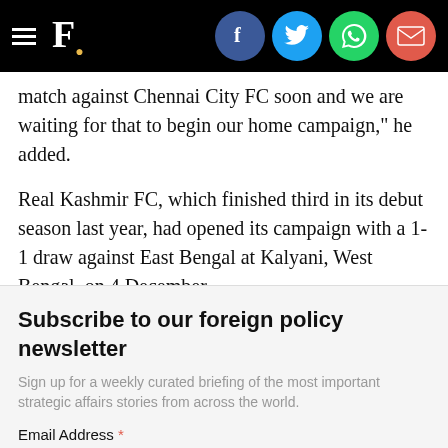F. [Firstpost logo with social share icons: Facebook, Twitter, WhatsApp, Email]
match against Chennai City FC soon and we are waiting for that to begin our home campaign," he added.
Real Kashmir FC, which finished third in its debut season last year, had opened its campaign with a 1-1 draw against East Bengal at Kalyani, West Bengal, on 4 December.
Updated Date:   December 09, 2019 18:34:52 IST
TAGS:  Aiff  Churchill Brothers Fc Goa  Football  Gokula
Subscribe to our foreign policy newsletter
Sign up for a weekly curated briefing of the most important strategic affairs stories from across the world.
Email Address *